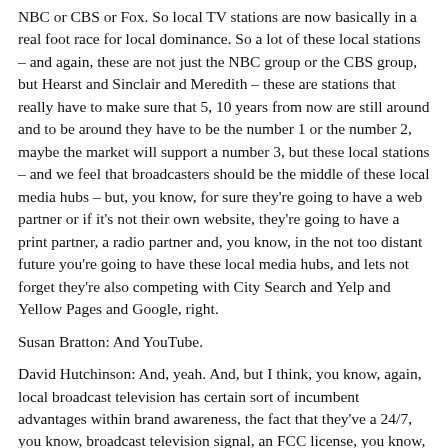NBC or CBS or Fox. So local TV stations are now basically in a real foot race for local dominance. So a lot of these local stations – and again, these are not just the NBC group or the CBS group, but Hearst and Sinclair and Meredith – these are stations that really have to make sure that 5, 10 years from now are still around and to be around they have to be the number 1 or the number 2, maybe the market will support a number 3, but these local stations – and we feel that broadcasters should be the middle of these local media hubs – but, you know, for sure they're going to have a web partner or if it's not their own website, they're going to have a print partner, a radio partner and, you know, in the not too distant future you're going to have these local media hubs, and lets not forget they're also competing with City Search and Yelp and Yellow Pages and Google, right.
Susan Bratton: And YouTube.
David Hutchinson: And, yeah. And, but I think, you know, again, local broadcast television has certain sort of incumbent advantages within brand awareness, the fact that they've a 24/7, you know, broadcast television signal, an FCC license, you know, a real sort of history of cash…
Susan Bratton: They've got some assets.
David Hutchinson: They've got some assets.